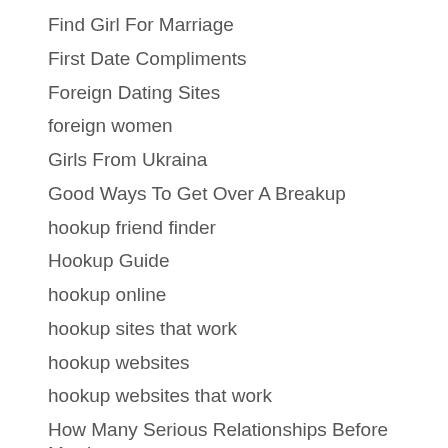Find Girl For Marriage
First Date Compliments
Foreign Dating Sites
foreign women
Girls From Ukraina
Good Ways To Get Over A Breakup
hookup friend finder
Hookup Guide
hookup online
hookup sites that work
hookup websites
hookup websites that work
How Many Serious Relationships Before Marriage
How Much Is A Mail Order Bride